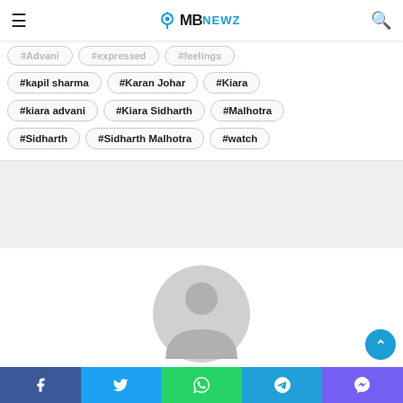MBNewz
#Advani
#expressed
#feelings
#kapil sharma
#Karan Johar
#Kiara
#kiara advani
#Kiara Sidharth
#Malhotra
#Sidharth
#Sidharth Malhotra
#watch
[Figure (illustration): Default user avatar placeholder - grey silhouette of a person in a circle]
Facebook | Twitter | WhatsApp | Telegram | Viber